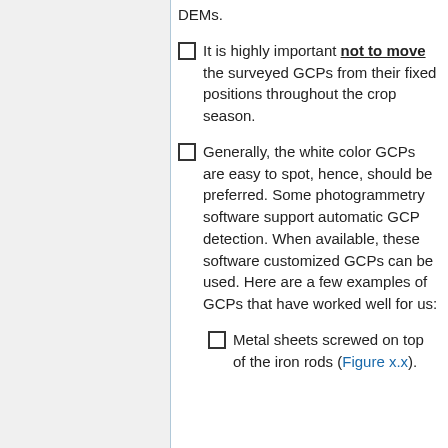DEMs.
It is highly important not to move the surveyed GCPs from their fixed positions throughout the crop season.
Generally, the white color GCPs are easy to spot, hence, should be preferred. Some photogrammetry software support automatic GCP detection. When available, these software customized GCPs can be used. Here are a few examples of GCPs that have worked well for us:
Metal sheets screwed on top of the iron rods (Figure x.x).